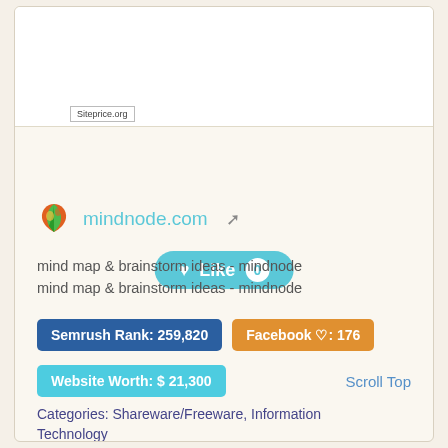[Figure (screenshot): Partial screenshot of mindnode.com website with Siteprice.org watermark label]
[Figure (other): Like button with heart icon showing count 0, teal/cyan rounded rectangle button]
mindnode.com (with external link icon)
mind map & brainstorm ideas - mindnode
mind map & brainstorm ideas - mindnode
Semrush Rank: 259,820
Facebook ♡: 176
Website Worth: $ 21,300
Scroll Top
Categories: Shareware/Freeware, Information Technology
Is it similar?
Yes 0
No 0